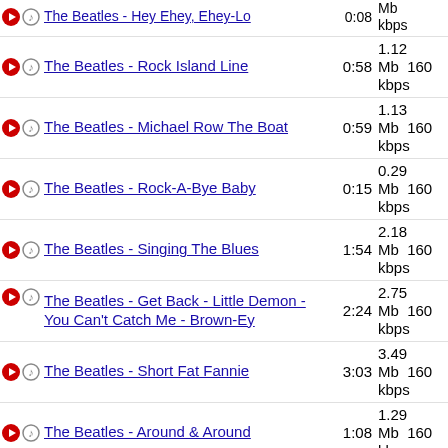The Beatles - Hey Ehey, Ehey-Lo | 0:08 | Mb | kbps
The Beatles - Rock Island Line | 0:58 | 1.12 Mb | 160 kbps
The Beatles - Michael Row The Boat | 0:59 | 1.13 Mb | 160 kbps
The Beatles - Rock-A-Bye Baby | 0:15 | 0.29 Mb | 160 kbps
The Beatles - Singing The Blues | 1:54 | 2.18 Mb | 160 kbps
The Beatles - Get Back - Little Demon - You Can't Catch Me - Brown-Ey | 2:24 | 2.75 Mb | 160 kbps
The Beatles - Short Fat Fannie | 3:03 | 3.49 Mb | 160 kbps
The Beatles - Around & Around | 1:08 | 1.29 Mb | 160 kbps
The Beatles - Almost Grown | 1:04 | 1.23 Mb | 160 kbps
The Beatles - School Day | 1:35 | 1.82 Mb | 160 kbps
The Beatles - Stand By Me - Where Have You Been | 2:37 | 2.99 Mb | 160 kbps
The Beatles - I Lost My Little Girl | 5:08 | 5.88 Mb | 160 kbps